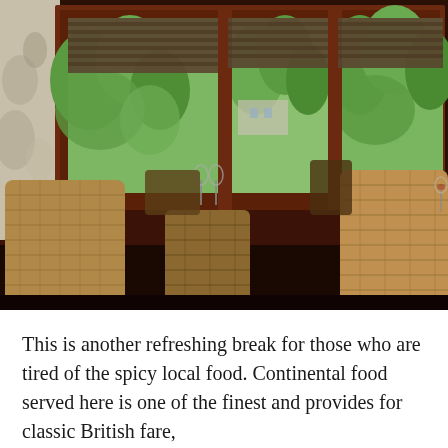[Figure (photo): Interior of a restaurant dining room with wicker/rattan high-backed chairs around dark wooden tables, large windows with bamboo blinds looking out onto lush green tropical trees and foliage, decorative wallpaper on the left side.]
This is another refreshing break for those who are tired of the spicy local food. Continental food served here is one of the finest and provides for classic British fare,